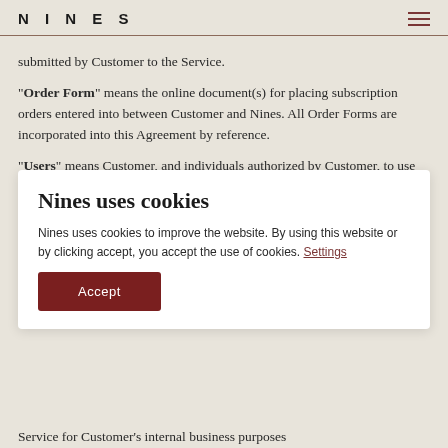NINES
submitted by Customer to the Service.
"Order Form" means the online document(s) for placing subscription orders entered into between Customer and Nines. All Order Forms are incorporated into this Agreement by reference.
"Users" means Customer, and individuals authorized by Customer, to use the Service.
Nines uses cookies
Nines uses cookies to improve the website. By using this website or by clicking accept, you accept the use of cookies. Settings
Accept
Service for Customer's internal business purposes